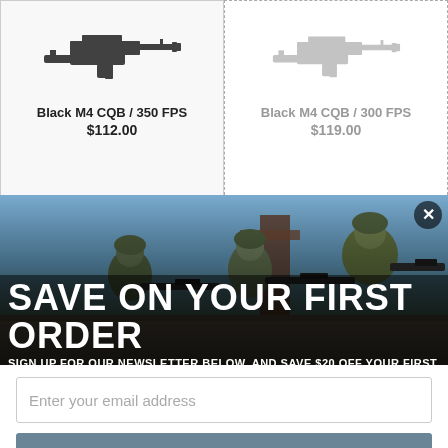[Figure (screenshot): Product card: Black M4 CQB / 350 FPS airsoft rifle image]
Black M4 CQB / 350 FPS
$112.00
[Figure (screenshot): Product card: Black M4 CQB / 300 FPS airsoft rifle image]
Black M4 CQB / 300 FPS
$119.00
[Figure (screenshot): Product card: Black M4 Commando airsoft rifle image (partially cut off)]
Black M4 Commando
[Figure (screenshot): Product card: Black M4 Commando airsoft rifle image (partially cut off)]
Black M4 Commando
[Figure (photo): Modal popup background showing military soldiers aiming rifles in tactical position]
SAVE ON YOUR FIRST ORDER
SIGN UP FOR OUR NEWSLETTER BELOW, AND SAVE $20 OFF YOUR FIRST ORDER
EXCLUSIONS APPLY
Enter your email address
Subscribe